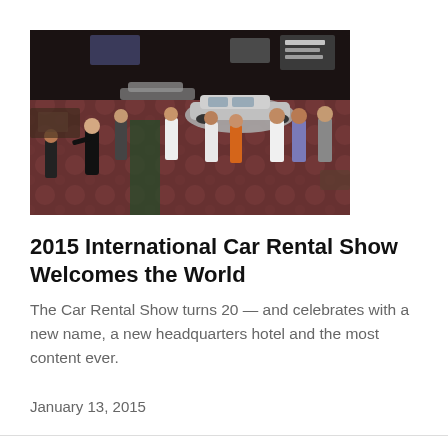[Figure (photo): Overhead/angled view of a car rental trade show floor with people standing and walking around, cars displayed on a decorative patterned carpet in a large convention hall.]
2015 International Car Rental Show Welcomes the World
The Car Rental Show turns 20 — and celebrates with a new name, a new headquarters hotel and the most content ever.
January 13, 2015